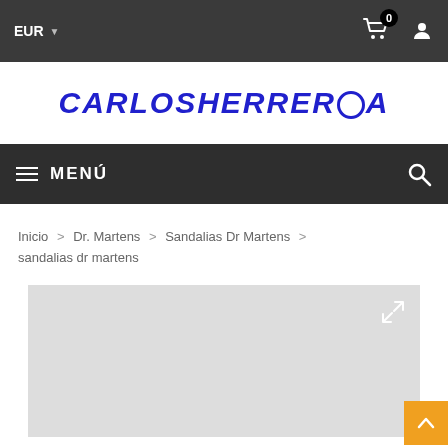EUR  [cart: 0]  [user icon]
CARLOSHERREROA
≡ MENÚ  [search icon]
Inicio > Dr. Martens > Sandalias Dr Martens > sandalias dr martens
[Figure (photo): Product image placeholder — light gray rectangular area with expand/zoom icon in upper-right corner]